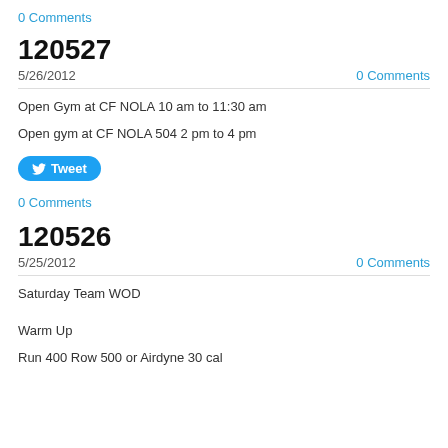0 Comments
120527
5/26/2012
0 Comments
Open Gym at CF NOLA 10 am to 11:30 am
Open gym at CF NOLA 504 2 pm to 4 pm
[Figure (other): Tweet button]
0 Comments
120526
5/25/2012
0 Comments
Saturday Team WOD
Warm Up
Run 400 Row 500 or Airdyne 30 cal